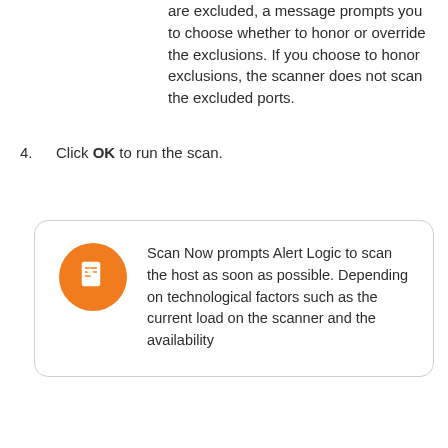are excluded, a message prompts you to choose whether to honor or override the exclusions. If you choose to honor exclusions, the scanner does not scan the excluded ports.
4. Click OK to run the scan.
Scan Now prompts Alert Logic to scan the host as soon as possible. Depending on technological factors such as the current load on the scanner and the availability